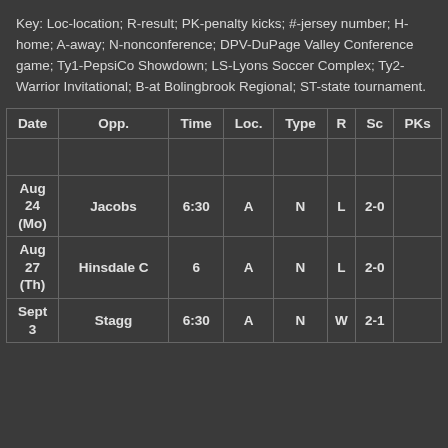Key: Loc-location; R-result; PK-penalty kicks; #-jersey number; H-home; A-away; N-nonconference; DPV-DuPage Valley Conference game; Ty1-PepsiCo Showdown; LS-Lyons Soccer Complex; Ty2-Warrior Invitational; B-at Bolingbrook Regional; ST-state tournament.
| Date | Opp. | Time | Loc. | Type | R | Sc | PKs |
| --- | --- | --- | --- | --- | --- | --- | --- |
|  |  |  |  |  |  |  |  |
| Aug 24 (Mo) | Jacobs | 6:30 | A | N | L | 2-0 |  |
| Aug 27 (Th) | Hinsdale C | 6 | A | N | L | 2-0 |  |
| Sept 3 | Stagg | 6:30 | A | N | W | 2-1 |  |